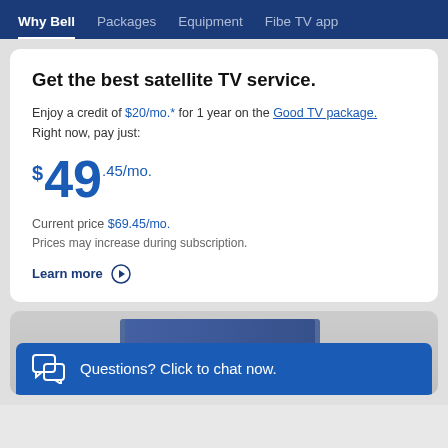Why Bell | Packages | Equipment | Fibe TV app
Get the best satellite TV service.
Enjoy a credit of $20/mo.* for 1 year on the Good TV package. Right now, pay just:
$49.45/mo.
Current price $69.45/mo.
Prices may increase during subscription.
Learn more
[Figure (screenshot): Partial screenshot showing a TV or monitor in background]
Questions? Click to chat now.